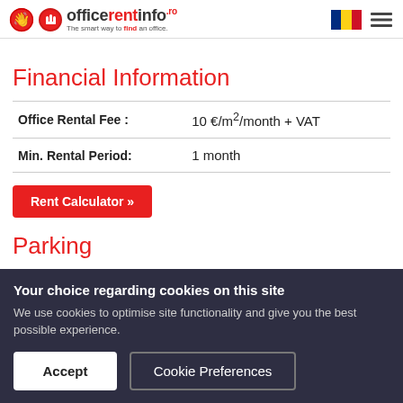officerentinfo.ro – The smart way to find an office.
Financial Information
| Field | Value |
| --- | --- |
| Office Rental Fee : | 10 €/m²/month + VAT |
| Min. Rental Period: | 1 month |
Rent Calculator »
Parking
Your choice regarding cookies on this site
We use cookies to optimise site functionality and give you the best possible experience.
Accept
Cookie Preferences